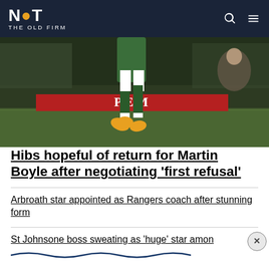NOT THE OLD FIRM
[Figure (photo): A football player in green kit and yellow boots running on a pitch, with stadium crowd in background and advertising boards visible]
Hibs hopeful of return for Martin Boyle after negotiating 'first refusal'
Arbroath star appointed as Rangers coach after stunning form
St Johnsone boss sweating as 'huge' star amon…